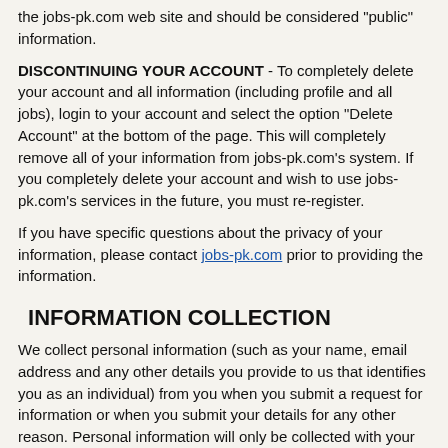the jobs-pk.com web site and should be considered "public" information.
DISCONTINUING YOUR ACCOUNT - To completely delete your account and all information (including profile and all jobs), login to your account and select the option "Delete Account" at the bottom of the page. This will completely remove all of your information from jobs-pk.com's system. If you completely delete your account and wish to use jobs-pk.com's services in the future, you must re-register.
If you have specific questions about the privacy of your information, please contact jobs-pk.com prior to providing the information.
INFORMATION COLLECTION
We collect personal information (such as your name, email address and any other details you provide to us that identifies you as an individual) from you when you submit a request for information or when you submit your details for any other reason. Personal information will only be collected with your consent.
When you browse our Website, we may also log your IP address (the Internet address of your computer) to give us an idea of which part of our Website you visit and how long you spend here. We do not link your IP address to any other personal information that you send to us. Like many other websites, we may use a standard technology called a "cookie" to collect information about how you use the Website.
USE OF INFORMATION WE COLLECT
We will use your information for several general purposes including: fulfilling your request for information or services, and to keep you up to date on